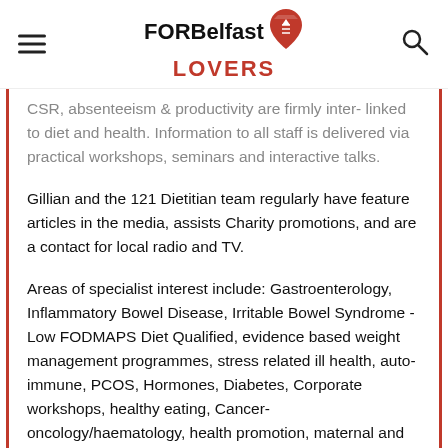FOR Belfast LOVERS
CSR, absenteeism & productivity are firmly inter- linked to diet and health. Information to all staff is delivered via practical workshops, seminars and interactive talks.
Gillian and the 121 Dietitian team regularly have feature articles in the media, assists Charity promotions, and are a contact for local radio and TV.
Areas of specialist interest include: Gastroenterology, Inflammatory Bowel Disease, Irritable Bowel Syndrome - Low FODMAPS Diet Qualified, evidence based weight management programmes, stress related ill health, auto-immune, PCOS, Hormones, Diabetes, Corporate workshops, healthy eating, Cancer- oncology/haematology, health promotion, maternal and child health, nutritional analysis, food